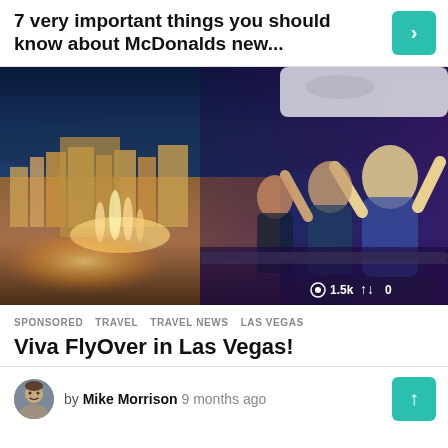7 very important things you should know about McDonalds new...
[Figure (photo): People on a thrill ride/roller coaster attraction with an aerial view of the Las Vegas Strip at dusk, showing hotels, fountains, and city lights below. Overlay shows eye icon with 1.5k views and share arrow with 0.]
SPONSORED   TRAVEL   TRAVEL NEWS   LAS VEGAS
Viva FlyOver in Las Vegas!
by Mike Morrison 9 months ago